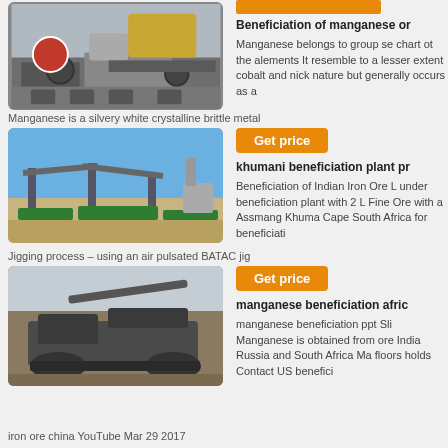[Figure (photo): Industrial mining/crushing plant with heavy machinery and large rocks]
[Figure (illustration): Orange bar decoration]
Beneficiation of manganese or
Manganese belongs to group se chart ot the alements It resemble to a lesser extent cobalt and nick nature but generally occurs as a
Manganese is a silvery white crystalline brittle metal
[Figure (photo): Industrial beneficiation/screening plant with conveyors against blue sky]
[Figure (illustration): Get price orange button]
khumani beneficiation plant pr
Beneficiation of Indian Iron Ore L under beneficiation plant with 2 L Fine Ore with a Assmang Khuma Cape South Africa for beneficiati
Jigging process – using an air pulsated BATAC jig
[Figure (photo): Heavy mining machinery/crusher on dirt ground]
[Figure (illustration): Get price orange button]
manganese beneficiation afric
manganese beneficiation ppt Sli Manganese is obtained from ore India Russia and South Africa Ma floors holds Contact US benefici
iron ore china YouTube Mar 29 2017